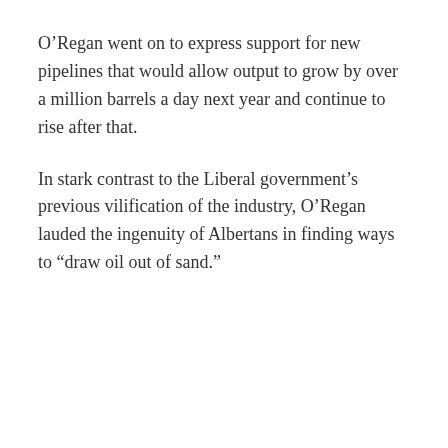O'Regan went on to express support for new pipelines that would allow output to grow by over a million barrels a day next year and continue to rise after that.
In stark contrast to the Liberal government's previous vilification of the industry, O'Regan lauded the ingenuity of Albertans in finding ways to “draw oil out of sand.”